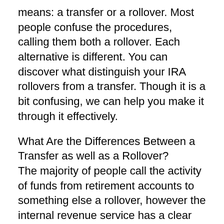means: a transfer or a rollover. Most people confuse the procedures, calling them both a rollover. Each alternative is different. You can discover what distinguish your IRA rollovers from a transfer. Though it is a bit confusing, we can help you make it through it effectively.
What Are the Differences Between a Transfer as well as a Rollover?
The majority of people call the activity of funds from retirement accounts to something else a rollover, however the internal revenue service has a clear interpretation of what a rollover as well as transfer are.
What is a gold IRA rollover? With this option, the cash you move is paid to you initially and